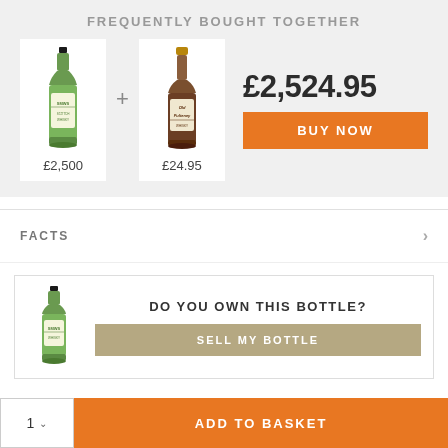FREQUENTLY BOUGHT TOGETHER
[Figure (photo): Two whisky bottles side by side with a plus sign between them. Left bottle: green label Scotch whisky priced £2,500. Right bottle: brown/amber label whisky priced £24.95.]
£2,524.95
BUY NOW
£2,500
£24.95
FACTS
DO YOU OWN THIS BOTTLE?
SELL MY BOTTLE
1
ADD TO BASKET